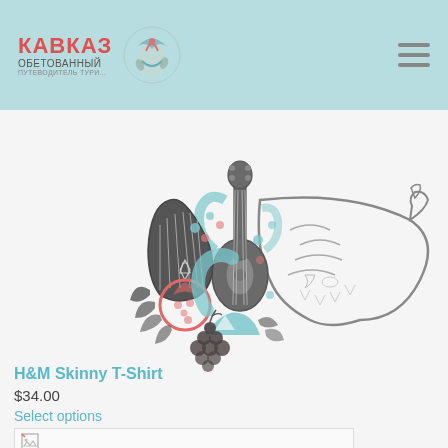КАВКАЗ ОБЕТОВАННЫЙ
[Figure (illustration): Decorative Caucasus themed illustration with musical instruments (lyre, mandolin), pomegranate, grapes, mountain symbol, and ornate cornucopia horn, in teal, coral/salmon, and dark gray colors]
H&M Skinny T-Shirt
$34.00
Select options
[Figure (photo): Broken image placeholder]